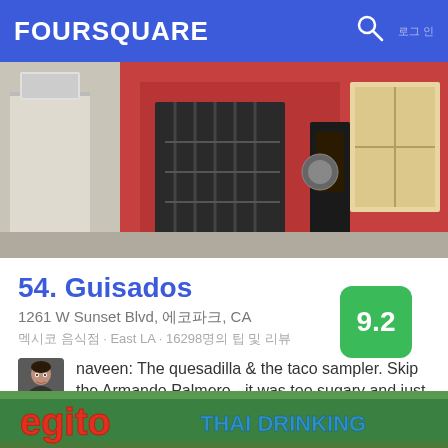FOURSQUARE
[Figure (photo): Exterior of Guisados restaurant with red painted walls and iron gate, street view]
54. Guisados
1261 W Sunset Blvd, 에코파크, CA
멕시코 음식점 · East LA · 16298명의 팁 및 리뷰
naveen: The quesadilla & the taco sampler. Skip the Armando Palmero - it was too sugary and just Meh.
[Figure (photo): Bottom portion of another venue photo showing colorful sign with Thai Drinking text]